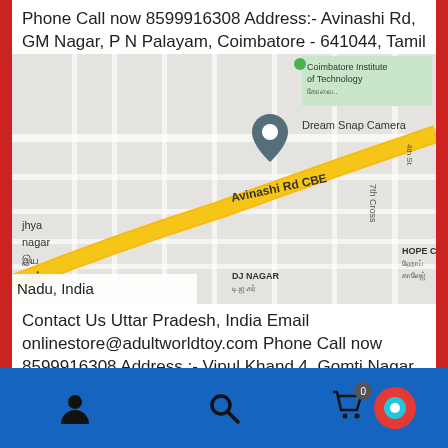Phone Call now 8599916308 Address:- Avinashi Rd, GM Nagar, P N Palayam, Coimbatore - 641044, Tamil
[Figure (map): Google Maps screenshot showing Dream Snap Camera location on Avinashi Rd CBE area near Coimbatore Institute of Technology, Hope College, DJ Nagar]
Nadu, India Contact Us Uttar Pradesh, India Email onlinestore@adultworldtoy.com Phone Call now 8599916308 Address :- Vipul Khand 4, Gomti Nagar,, Lucknow - 226010, Uttar Pradesh, India
[Figure (map): Google Maps screenshot showing location near CMS Chauraha area in Lucknow]
Navigation bar with person icon, search icon, cart icon with badge 0, and red circle icon